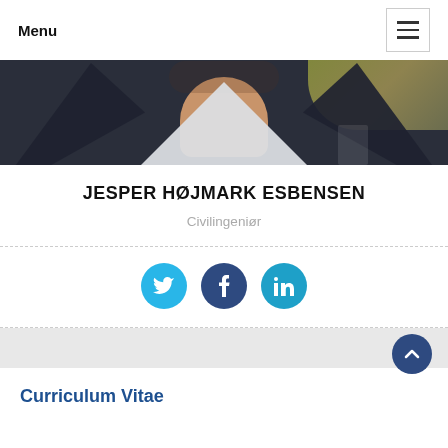Menu
[Figure (photo): Cropped photo of a man in a suit with white shirt collar visible, blurred background with warm tones]
JESPER HØJMARK ESBENSEN
Civilingeniør
[Figure (infographic): Three social media icons: Twitter (light blue), Facebook (dark blue), LinkedIn (blue)]
Curriculum Vitae